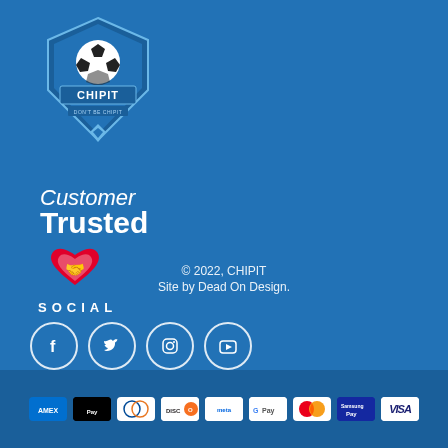[Figure (logo): CHIPIT soccer logo badge - blue shield with soccer ball and CHIPIT text]
[Figure (logo): Customer Trusted badge with handshake heart icon]
SOCIAL
[Figure (infographic): Four social media icons in circles: Facebook, Twitter, Instagram, YouTube]
© 2022, CHIPIT
Site by Dead On Design.
[Figure (infographic): Payment method logos: AMEX, Apple Pay, Diners Club, Discover, Meta Pay, Google Pay, Mastercard, Samsung Pay, Visa]